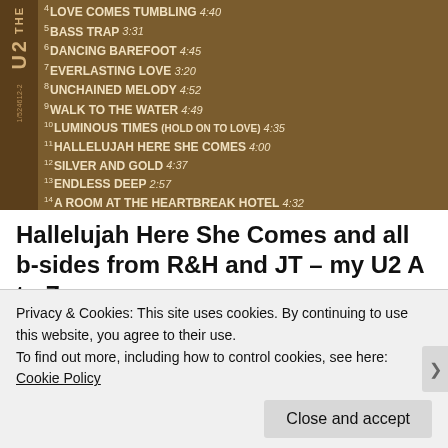[Figure (photo): U2 'The' album back cover showing a tracklist numbered 4-15 on a brown/gold background with side spine showing U2 branding and catalog number 1/524612-2]
Hallelujah Here She Comes and all b-sides from R&H and JT – my U2 A to Z
Some of my favorite U2 songs are the ones that
Privacy & Cookies: This site uses cookies. By continuing to use this website, you agree to their use.
To find out more, including how to control cookies, see here: Cookie Policy